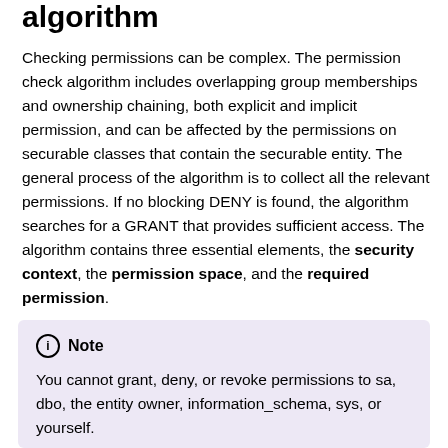algorithm
Checking permissions can be complex. The permission check algorithm includes overlapping group memberships and ownership chaining, both explicit and implicit permission, and can be affected by the permissions on securable classes that contain the securable entity. The general process of the algorithm is to collect all the relevant permissions. If no blocking DENY is found, the algorithm searches for a GRANT that provides sufficient access. The algorithm contains three essential elements, the security context, the permission space, and the required permission.
Note
You cannot grant, deny, or revoke permissions to sa, dbo, the entity owner, information_schema, sys, or yourself.